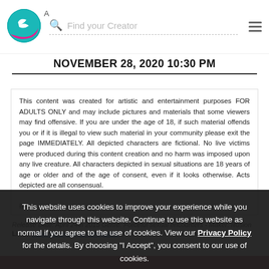A  Find your Creator
NOVEMBER 28, 2020 10:30 PM
This content was created for artistic and entertainment purposes FOR ADULTS ONLY and may include pictures and materials that some viewers may find offensive. If you are under the age of 18, if such material offends you or if it is illegal to view such material in your community please exit the page IMMEDIATELY. All depicted characters are fictional. No live victims were produced during this content creation and no harm was imposed upon any live creature. All characters depicted in sexual situations are 18 years of age or older and of the age of consent, even if it looks otherwise. Acts depicted are all consensual.
Be ...
Release Date: April 24th 2015 Genre: Forceful sexual encounters - Maker: Illusion
Links https://ai-syoujyo.com/public (All download links are in here)
This website uses cookies to improve your experience while you navigate through this website. Continue to use this website as normal if you agree to the use of cookies. View our Privacy Policy for the details. By choosing "I Accept", you consent to our use of cookies.